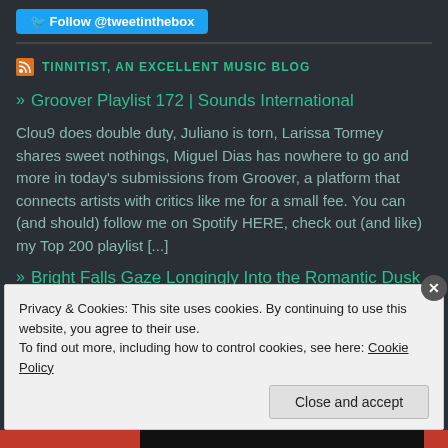Follow @tweetinthebox
TINNITIST, AN EXCELLENT MUSIC BLOG
» Groover Playlist 172 | Sounds International
Clou9 does double duty, Juliano is torn, Larissa Tormey shares sweet nothings, Miguel Dias has nowhere to go and more in today's submissions from Groover, a platform that connects artists with critics like me for a small fee. You can (and should) follow me on Spotify HERE, check out (and like) my Top 200 playlist [...]
» Bright Falls Gaze Longingly Into the Romantic Dusk
Privacy & Cookies: This site uses cookies. By continuing to use this website, you agree to their use.
To find out more, including how to control cookies, see here: Cookie Policy
Close and accept